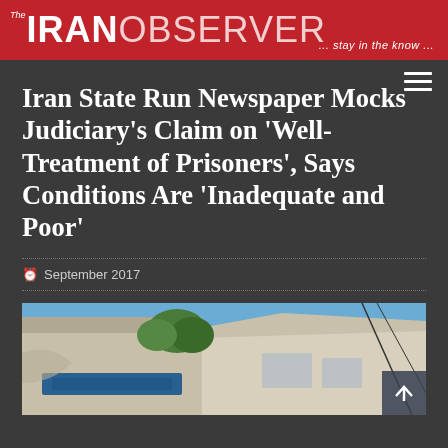The IRAN OBSERVER ... stay in the know ...
Iran State Run Newspaper Mocks Judiciary's Claim on 'Well-Treatment of Prisoners', Says Conditions Are 'Inadequate and Poor'
September 2017
[Figure (photo): Exterior photograph of an Iranian building, likely a prison or government facility, with a blue sign in Persian script, concrete walls, and trees visible against a blue sky. Power lines visible on the right side.]